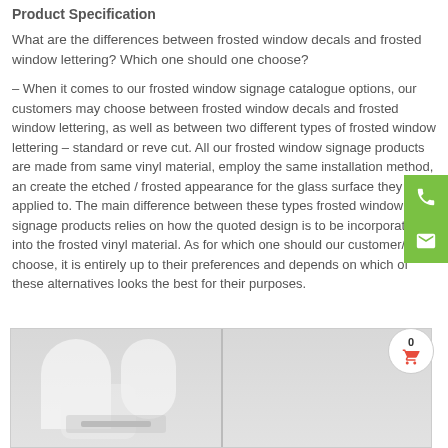Product Specification
What are the differences between frosted window decals and frosted window lettering? Which one should one choose?
– When it comes to our frosted window signage catalogue options, our customers may choose between frosted window decals and frosted window lettering, as well as between two different types of frosted window lettering – standard or reve cut. All our frosted window signage products are made from same vinyl material, employ the same installation method, an create the etched / frosted appearance for the glass surface they are applied to. The main difference between these types frosted window signage products relies on how the quoted design is to be incorporated into the frosted vinyl material. As for which one should our customer/s choose, it is entirely up to their preferences and depends on which of these alternatives looks the best for their purposes.
[Figure (photo): Frosted window glass panel showing white frosted decal lettering on glass surface, split by a divider]